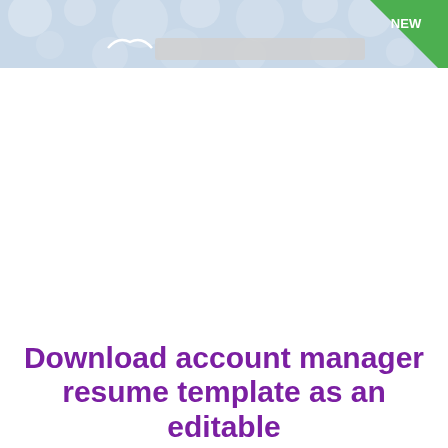[Figure (illustration): Header banner with bokeh bubble background in blue/grey tones, a white circular logo element on the left, a grey rectangle bar in the center, and a green 'NEW' badge triangle in the top-right corner.]
Download account manager resume template as an editable